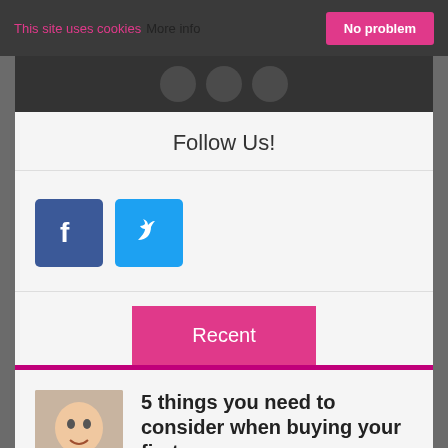This site uses cookies  More info  No problem
[Figure (screenshot): Dark navigation bar with three grey circular social media icons]
Follow Us!
[Figure (illustration): Facebook icon (blue square with white F) and Twitter icon (light blue square with white bird)]
Recent
[Figure (photo): Photo of a smiling young girl in a white top]
5 things you need to consider when buying your first car